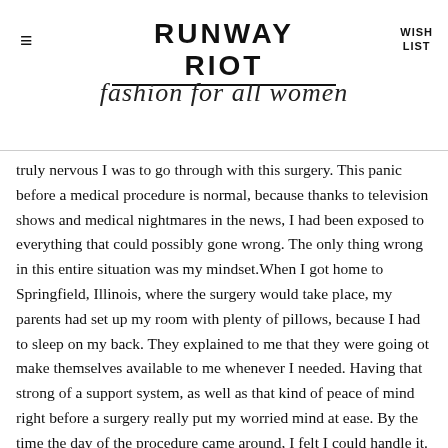RUNWAY RIOT | fashion for all women | WISH LIST
truly nervous I was to go through with this surgery. This panic before a medical procedure is normal, because thanks to television shows and medical nightmares in the news, I had been exposed to everything that could possibly gone wrong. The only thing wrong in this entire situation was my mindset.When I got home to Springfield, Illinois, where the surgery would take place, my parents had set up my room with plenty of pillows, because I had to sleep on my back. They explained to me that they were going ot make themselves available to me whenever I needed. Having that strong of a support system, as well as that kind of peace of mind right before a surgery really put my worried mind at ease. By the time the day of the procedure came around, I felt I could handle it.
The night I was finished, I was high on pain medications and bandaged stiffly because everything had to stay in place. I